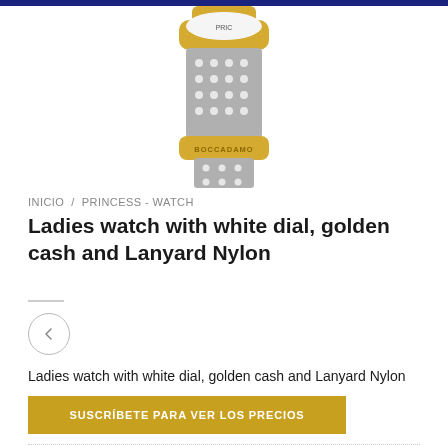[Figure (photo): Partial view of a BOCCADAMO ladies watch with golden case and grey polka-dot nylon lanyard strap, cropped showing lower half of the watch]
INICIO / PRINCESS - WATCH
Ladies watch with white dial, golden cash and Lanyard Nylon
[Figure (other): Left navigation arrow button (circle with chevron)]
Ladies watch with white dial, golden cash and Lanyard Nylon
SUSCRÍBETE PARA VER LOS PRECIOS
SKU: PR010